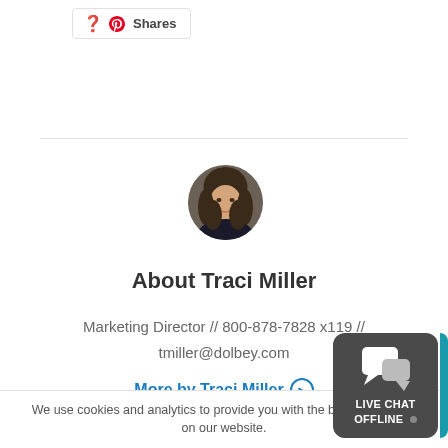Shares
[Figure (photo): Circular profile photo of Traci Miller, a woman with shoulder-length brown hair, smiling, wearing a dark jacket]
About Traci Miller
Marketing Director // 800-878-7828 x119 // tmiller@dolbey.com
More by Traci Miller ⊙
We use cookies and analytics to provide you with the best experience on our website.
[Figure (infographic): Live Chat Offline widget — dark grey rounded rectangle with speech bubble icon and text LIVE CHAT OFFLINE with grey dot]